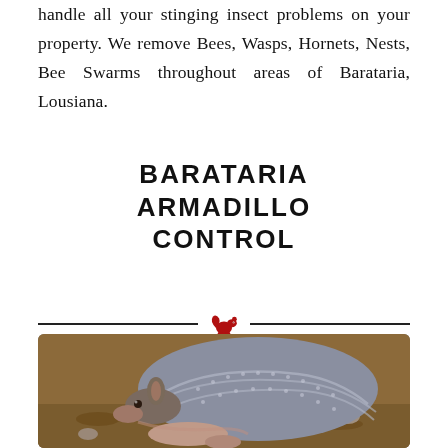handle all your stinging insect problems on your property. We remove Bees, Wasps, Hornets, Nests, Bee Swarms throughout areas of Barataria, Lousiana.
BARATARIA ARMADILLO CONTROL
[Figure (illustration): Red squirrel icon used as a decorative divider between the title and the photo]
[Figure (photo): Close-up photograph of an armadillo on the ground with leaves and dirt, showing its distinctive armored shell with dotted pattern.]